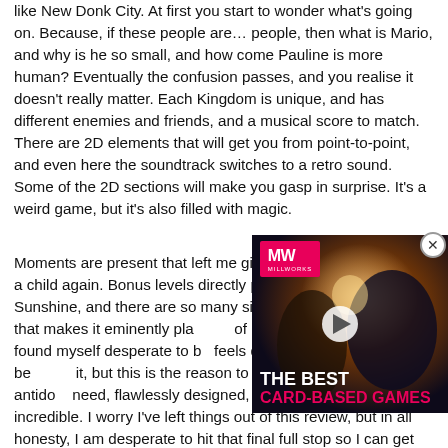like New Donk City. At first you start to wonder what's going on. Because, if these people are… people, then what is Mario, and why is he so small, and how come Pauline is more human? Eventually the confusion passes, and you realise it doesn't really matter. Each Kingdom is unique, and has different enemies and friends, and a musical score to match. There are 2D elements that will get you from point-to-point, and even here the soundtrack switches to a retro sound. Some of the 2D sections will make you gasp in surprise. It's a weird game, but it's also filled with magic.
Moments are present that left me giddy, and made me feel like a child again. Bonus levels directly pay homage to Mario Sunshine, and there are so many similarities, only everything that makes it eminently playable of Odyssey, and when I was found myself desperate to b feels daft to tell you this be it, but this is the reason to b Full of happiness, an antido need, flawlessly designed, addictive, and just incredible. I worry I've left things out of this review, but in all honesty, I am desperate to hit that final full stop so I can get back to collecting more moons. This is platforming perfection, full stop.
[Figure (screenshot): Video advertisement overlay showing MW (MillWorks) logo in pink/magenta on dark background with fantasy game artwork. Text reads 'THE BEST CARD-BASED GAMES' with a play button in the center. Close button (X) in circle top-right.]